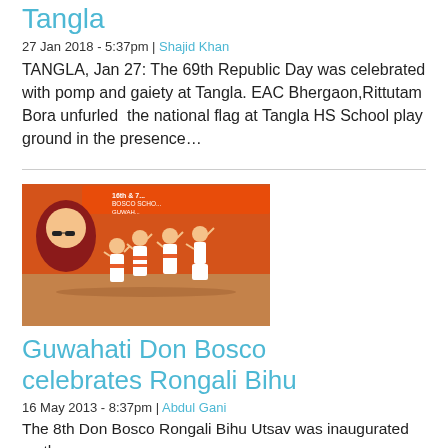Tangla
27 Jan 2018 - 5:37pm | Shajid Khan
TANGLA, Jan 27: The 69th Republic Day was celebrated with pomp and gaiety at Tangla. EAC Bhergaon,Rittutam Bora unfurled  the national flag at Tangla HS School play ground in the presence…
[Figure (photo): Cultural dance performance on stage at Don Bosco School Guwahati event, performers in traditional Assamese Bihu attire]
Guwahati Don Bosco celebrates Rongali Bihu
16 May 2013 - 8:37pm | Abdul Gani
The 8th Don Bosco Rongali Bihu Utsav was inaugurated on the